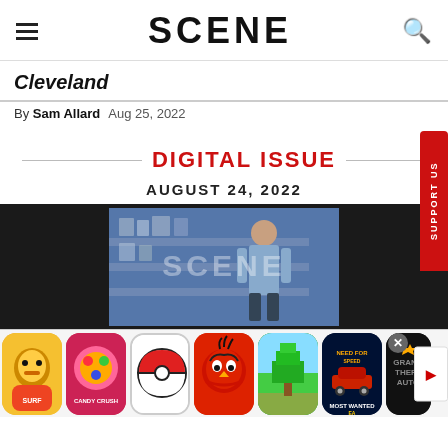SCENE
Cleveland
By Sam Allard   Aug 25, 2022
DIGITAL ISSUE
AUGUST 24, 2022
[Figure (photo): Scene magazine digital issue cover image showing a figure in a store or retail setting with SCENE watermark overlay, shown on dark background]
[Figure (screenshot): Mobile ad bar showing game icons: Subway Surfers, Candy Crush, Pokemon (Pokeball), Angry Birds, pixel/Minecraft-style game, Need for Speed Most Wanted EA, Grand Theft Auto. Has close X button and red arrow indicator.]